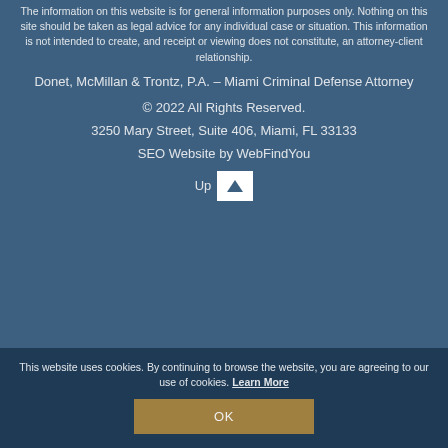The information on this website is for general information purposes only. Nothing on this site should be taken as legal advice for any individual case or situation. This information is not intended to create, and receipt or viewing does not constitute, an attorney-client relationship.
Donet, McMillan & Trontz, P.A. – Miami Criminal Defense Attorney
© 2022 All Rights Reserved.
3250 Mary Street, Suite 406, Miami, FL 33133
SEO Website by WebFindYou
Up
This website uses cookies. By continuing to browse the website, you are agreeing to our use of cookies. Learn More
OK